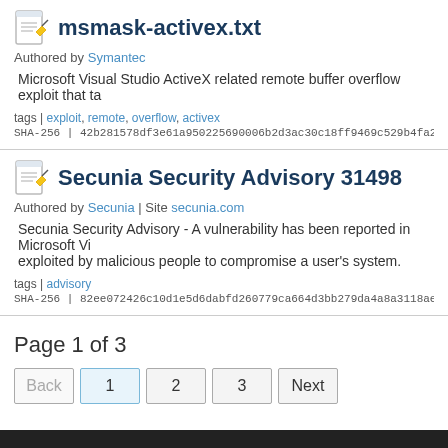msmask-activex.txt
Authored by Symantec
Microsoft Visual Studio ActiveX related remote buffer overflow exploit that ta
tags | exploit, remote, overflow, activex
SHA-256 | 42b281578df3e61a950225690006b2d3ac30c18ff9469c529b4fa2
Secunia Security Advisory 31498
Authored by Secunia | Site secunia.com
Secunia Security Advisory - A vulnerability has been reported in Microsoft Vi exploited by malicious people to compromise a user's system.
tags | advisory
SHA-256 | 82ee072426c10d1e5d6dabfd260779ca664d3bb279da4a8a3118ae
Page 1 of 3
Back 1 2 3 Next